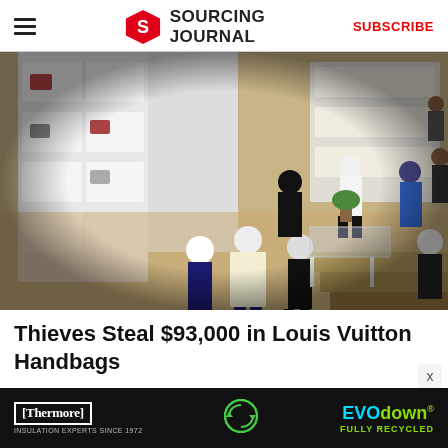Sourcing Journal — SUBSCRIBE
[Figure (photo): CCTV overhead security camera footage inside a Louis Vuitton store showing several people, some wearing hoodies and masks, near display shelves with handbags. Mannequins are visible in the foreground. The image appears to be from a retail theft incident.]
Thieves Steal $93,000 in Louis Vuitton Handbags
[Figure (other): Thermore EVO down insulation advertisement banner. Text reads: Thermore INSULATION EXPERTS SINCE 1972, EVO down FULLY RECYCLED with a recycling symbol icon.]